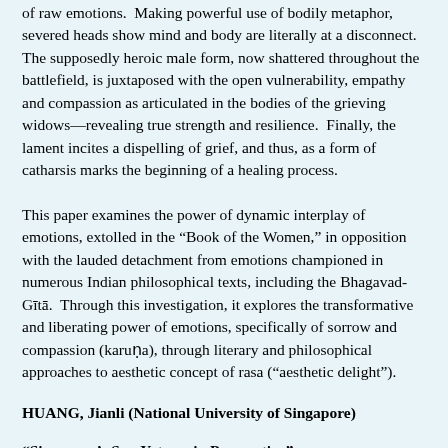of raw emotions.  Making powerful use of bodily metaphor, severed heads show mind and body are literally at a disconnect.  The supposedly heroic male form, now shattered throughout the battlefield, is juxtaposed with the open vulnerability, empathy and compassion as articulated in the bodies of the grieving widows—revealing true strength and resilience.  Finally, the lament incites a dispelling of grief, and thus, as a form of catharsis marks the beginning of a healing process.
This paper examines the power of dynamic interplay of emotions, extolled in the “Book of the Women,” in opposition with the lauded detachment from emotions championed in numerous Indian philosophical texts, including the Bhagavad-Gītā.  Through this investigation, it explores the transformative and liberating power of emotions, specifically of sorrow and compassion (karuṇa), through literary and philosophical approaches to aesthetic concept of rasa (“aesthetic delight”).
HUANG, Jianli (National University of Singapore)
“Singapore’s Sun Yat-sen in Perspective”
According to the conceptual framing by the organizers of this